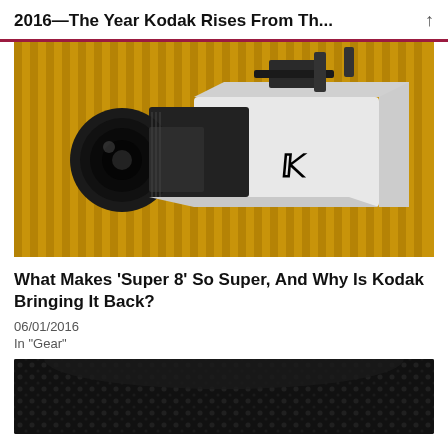2016—The Year Kodak Rises From Th...
[Figure (photo): A black and white Kodak camera with a lens attachment, on a yellow/golden background with vertical lines]
What Makes 'Super 8' So Super, And Why Is Kodak Bringing It Back?
06/01/2016
In "Gear"
[Figure (photo): Close-up of a dark textured camera body surface, partially visible at bottom of page]